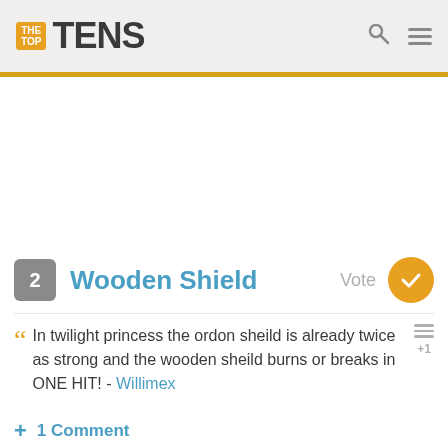THE TOP TENS
2 Wooden Shield
In twilight princess the ordon sheild is already twice as strong and the wooden sheild burns or breaks in ONE HIT! - Willimex
+ 1 Comment